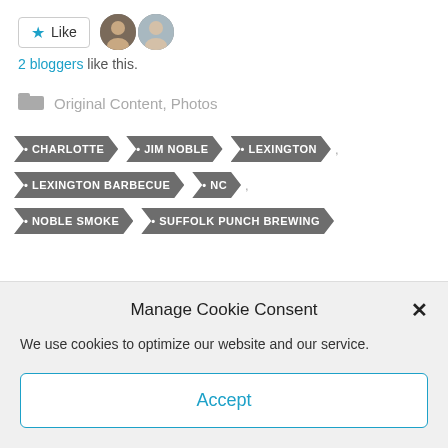[Figure (other): Like button with star icon and two blogger avatar photos beside it]
2 bloggers like this.
Original Content, Photos
CHARLOTTE
JIM NOBLE
LEXINGTON
LEXINGTON BARBECUE
NC
NOBLE SMOKE
SUFFOLK PUNCH BREWING
Manage Cookie Consent
We use cookies to optimize our website and our service.
Accept